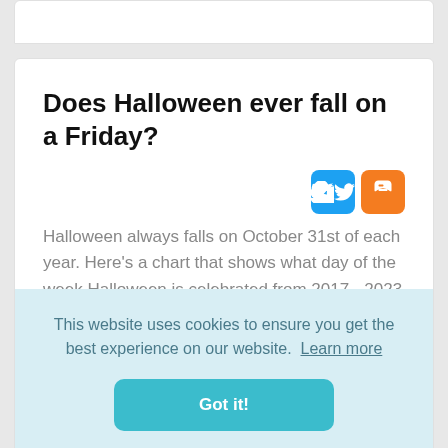Does Halloween ever fall on a Friday?
[Figure (logo): Twitter and Blogger social share icons]
Halloween always falls on October 31st of each year. Here's a chart that shows what day of the week Halloween is celebrated from 2017 - 2023
This website uses cookies to ensure you get the best experience on our website. Learn more
Got it!